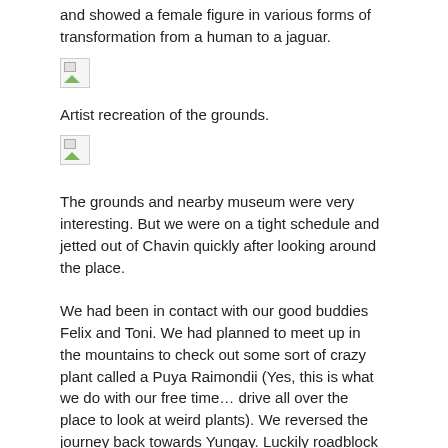and showed a female figure in various forms of transformation from a human to a jaguar.
[Figure (photo): Broken/missing image placeholder (first image)]
Artist recreation of the grounds.
[Figure (photo): Broken/missing image placeholder (second image)]
The grounds and nearby museum were very interesting. But we were on a tight schedule and jetted out of Chavin quickly after looking around the place.
We had been in contact with our good buddies Felix and Toni. We had planned to meet up in the mountains to check out some sort of crazy plant called a Puya Raimondii (Yes, this is what we do with our free time… drive all over the place to look at weird plants). We reversed the journey back towards Yungay. Luckily roadblock free this time. Oddly, there wasn't a stitch of evidence that this whole route had been a shitshow the day before. All bridges and roads completely clear. Fine with us.